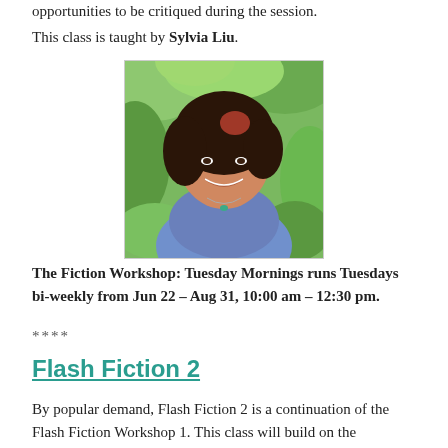opportunities to be critiqued during the session.
This class is taught by Sylvia Liu.
[Figure (photo): Portrait photo of Sylvia Liu, a woman with a short reddish-brown bob haircut, smiling, wearing a blue patterned top, with green foliage in the background.]
The Fiction Workshop: Tuesday Mornings runs Tuesdays bi-weekly from Jun 22 – Aug 31, 10:00 am – 12:30 pm.
****
Flash Fiction 2
By popular demand, Flash Fiction 2 is a continuation of the Flash Fiction Workshop 1. This class will build on the foundations from the first workshop, focusing on: the contemporary and historical